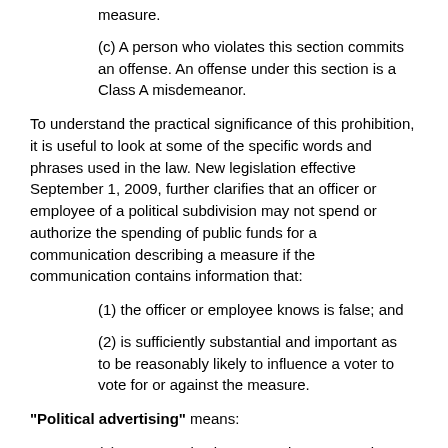measure.
(c) A person who violates this section commits an offense. An offense under this section is a Class A misdemeanor.
To understand the practical significance of this prohibition, it is useful to look at some of the specific words and phrases used in the law. New legislation effective September 1, 2009, further clarifies that an officer or employee of a political subdivision may not spend or authorize the spending of public funds for a communication describing a measure if the communication contains information that:
(1) the officer or employee knows is false; and
(2) is sufficiently substantial and important as to be reasonably likely to influence a voter to vote for or against the measure.
"Political advertising" means:
(1) a communication supporting or opposing a candidate for nomination or election to a public office or office of a political party, a political party, or a public officer, that: (A) in return for consideration, is published in a newspaper, magazine, or other periodical or is broadcast by radio or television; or (B)